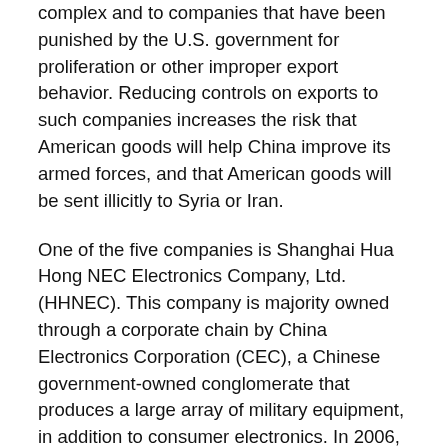complex and to companies that have been punished by the U.S. government for proliferation or other improper export behavior. Reducing controls on exports to such companies increases the risk that American goods will help China improve its armed forces, and that American goods will be sent illicitly to Syria or Iran.
One of the five companies is Shanghai Hua Hong NEC Electronics Company, Ltd. (HHNEC). This company is majority owned through a corporate chain by China Electronics Corporation (CEC), a Chinese government-owned conglomerate that produces a large array of military equipment, in addition to consumer electronics. In 2006, the U.S. Justice Department described one of CEC’s subsidiaries as a “technology procurement arm of the People’s Liberation Army,” and in 2004, the U.S. Defense Department described the subsidiary as a “critical element of the PLA’s C4I [command, control, communications, computers and intelligence] modernization effort.” Also in 2006, the U.S.